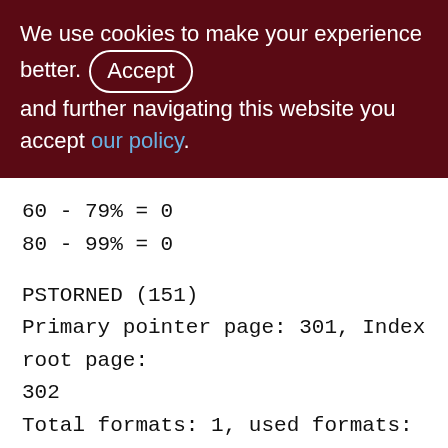We use cookies to make your experience better. By accepting and further navigating this website you accept our policy.
60 - 79% = 0
80 - 99% = 0
PSTORNED (151)
Primary pointer page: 301, Index root page: 302
Total formats: 1, used formats: 1
Average record length: 54.98, total records: 448240
Average version length: 55.52, total versions: 883, max versions: 1
Average fragment length: 0.00, total